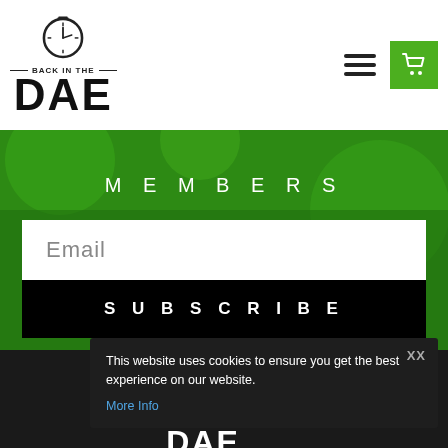[Figure (logo): Back In The DAE logo with clock icon above text]
[Figure (infographic): Hamburger menu icon (three horizontal lines)]
[Figure (logo): Green shopping cart button]
MEMBERS
Email
SUBSCRIBE
This website uses cookies to ensure you get the best experience on our website.
More Info
[Figure (logo): Back In The DAE logo (bottom, dark background version)]